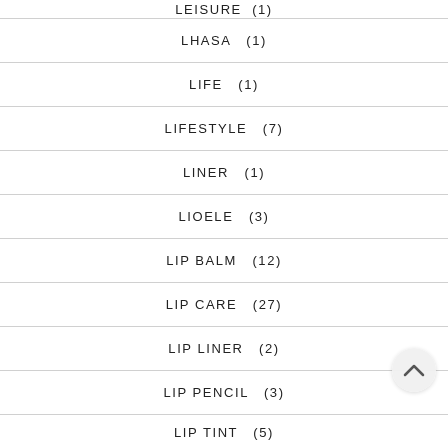LHASA (1)
LIFE (1)
LIFESTYLE (7)
LINER (1)
LIOELE (3)
LIP BALM (12)
LIP CARE (27)
LIP LINER (2)
LIP PENCIL (3)
LIP TINT (5)